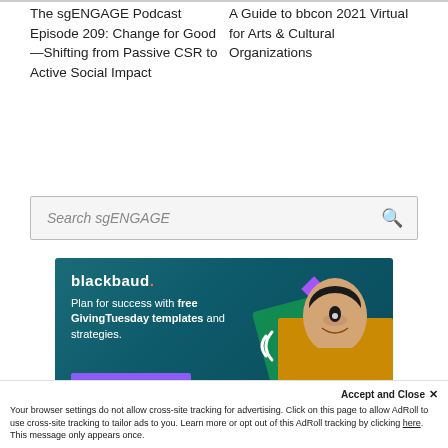The sgENGAGE Podcast Episode 209: Change for Good—Shifting from Passive CSR to Active Social Impact
A Guide to bbcon 2021 Virtual for Arts & Cultural Organizations
Search sgENGAGE
[Figure (illustration): Blackbaud advertisement banner with dark teal background, showing blackbaud logo, text 'Plan for success with free GivingTuesday templates and strategies.', a purple 'Get free resources' button, decorative diamond shapes, a green card graphic, and a smiling woman in yellow top.]
Accept and Close ✕
Your browser settings do not allow cross-site tracking for advertising. Click on this page to allow AdRoll to use cross-site tracking to tailor ads to you. Learn more or opt out of this AdRoll tracking by clicking here. This message only appears once.